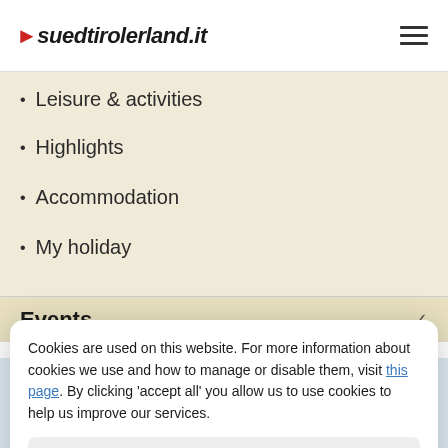suedtirolerland.it
Leisure & activities
Highlights
Accommodation
My holiday
Events
Cookies are used on this website. For more information about cookies we use and how to manage or disable them, visit this page. By clicking 'accept all' you allow us to use cookies to help us improve our services.
Essential cookies only
Accept all
Tourism portals
★ ★ ★ ★
Hotel Schneeberg
Your top hotel for wellness, active and family holidays